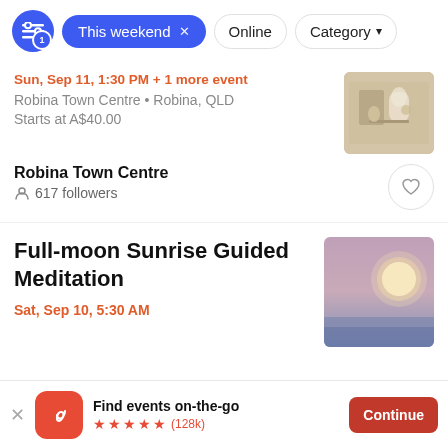[Figure (screenshot): Filter bar with active 'This weekend' pill, Online and Category options]
Sun, Sep 11, 1:30 PM + 1 more event
Robina Town Centre • Robina, QLD
Starts at A$40.00
[Figure (photo): Food and tableware arrangement photo thumbnail]
Robina Town Centre
617 followers
Full-moon Sunrise Guided Meditation
Sat, Sep 10, 5:30 AM
[Figure (photo): Full moon over pink-blue gradient sky thumbnail]
Find events on-the-go
(128k)